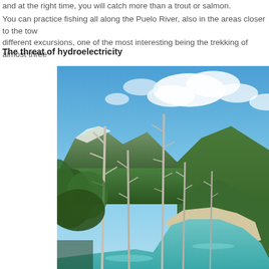and at the right time, you will catch more than a trout or salmon.
You can practice fishing all along the Puelo River, also in the areas closer to the town. There are different excursions, one of the most interesting being the trekking of almost three
The threat of hydroelectricity
[Figure (photo): Landscape photo showing a turquoise river winding through a valley with green forested mountains and bare dead trees in the foreground under a blue sky with clouds.]